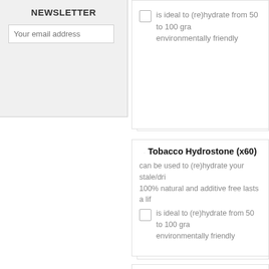NEWSLETTER
Your email address
is ideal to (re)hydrate from 50 to 100 gra... environmentally friendly
Tobacco Hydrostone (x60)
can be used to (re)hydrate your stale/dri... 100% natural and additive free lasts a lif...
is ideal to (re)hydrate from 50 to 100 gra... environmentally friendly
Tobacco Hydrostone (x80)
can be used to (re)hydrate your stale/dri... 100% natural and additive free lasts a lif...
is ideal to (re)hydrate from 50 to 100 gra... environmentally friendly